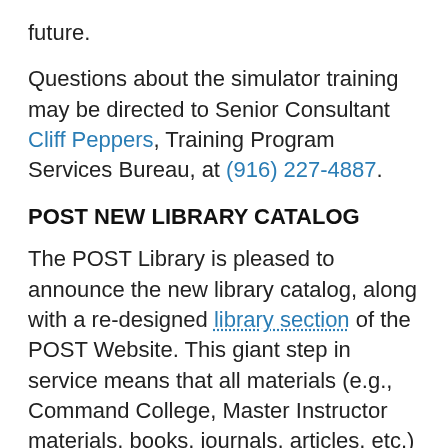future.
Questions about the simulator training may be directed to Senior Consultant Cliff Peppers, Training Program Services Bureau, at (916) 227-4887.
POST NEW LIBRARY CATALOG
The POST Library is pleased to announce the new library catalog, along with a re-designed library section of the POST Website. This giant step in service means that all materials (e.g., Command College, Master Instructor materials, books, journals, articles, etc.) are integrated into one database and can be searched together. A search can be limited (using “drop-downs”) to a specific